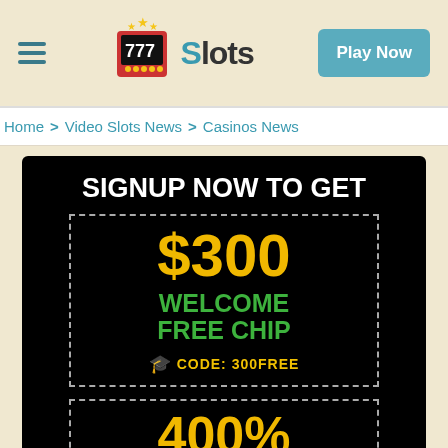Slots — Play Now
Home > Video Slots News > Casinos News
[Figure (infographic): Casino promotional banner on black background. Text reads: SIGNUP NOW TO GET, $300 WELCOME FREE CHIP, CODE: 300FREE. Below is a partially visible second dashed box showing 400% text in yellow.]